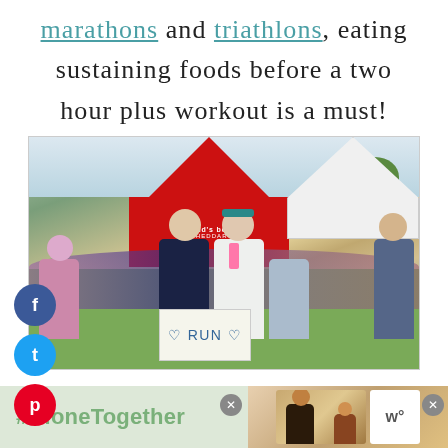marathons and triathlons, eating sustaining foods before a two hour plus workout is a must!
[Figure (photo): People at a marathon/triathlon event near a red 'World's Best Cheddar' tent and white tent. A woman with a medal and teal headband stands with a man and a child holding a sign that says RUN.]
[Figure (screenshot): Ad banner showing #AloneTogether text on green background with a photo of a family on the right side and close buttons]